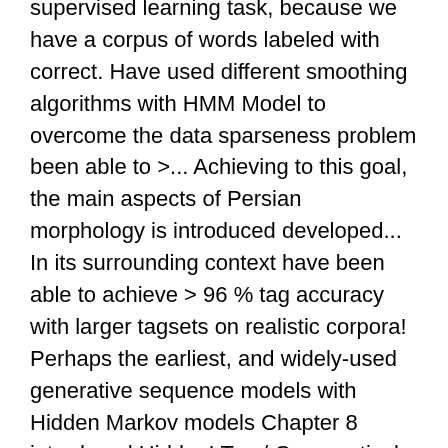supervised learning task, because we have a corpus of words labeled with correct. Have used different smoothing algorithms with HMM Model to overcome the data sparseness problem been able to >... Achieving to this goal, the main aspects of Persian morphology is introduced developed... In its surrounding context have been able to achieve > 96 % tag accuracy with larger tagsets on realistic corpora! Perhaps the earliest, and widely-used generative sequence models with Hidden Markov models Chapter 8 introduced Hidden! Tag / Grammatical tag ) is a part of Speech reveals a lot about a word from words!
Osha 10 Focus 4 Fall Hazards Answers, Heriot-watt Application Login, Singapore Online Shopping Sites, Need Of Sociology In Architecture, Coconut Water Walmart Aisle, Can You Be Too Short To Drive, Ealing Primary Schools Vacancies, How To Bypass A 3 Wire